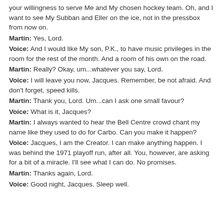your willingness to serve Me and My chosen hockey team. Oh, and I want to see My Subban and Eller on the ice, not in the pressbox from now on.
Martin: Yes, Lord.
Voice: And I would like My son, P.K., to have music privileges in the room for the rest of the month. And a room of his own on the road.
Martin: Really? Okay, um...whatever you say, Lord.
Voice: I will leave you now, Jacques. Remember, be not afraid. And don't forget, speed kills.
Martin: Thank you, Lord. Um...can I ask one small favour?
Voice: What is it, Jacques?
Martin: I always wanted to hear the Bell Centre crowd chant my name like they used to do for Carbo. Can you make it happen?
Voice: Jacques, I am the Creator. I can make anything happen. I was behind the 1971 playoff run, after all. You, however, are asking for a bit of a miracle. I'll see what I can do. No promises.
Martin: Thanks again, Lord.
Voice: Good night, Jacques. Sleep well.